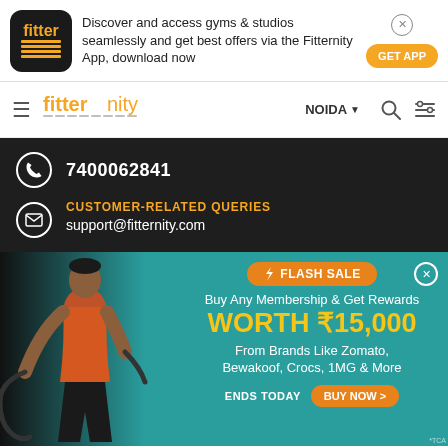[Figure (screenshot): Fitternity app download banner with app logo, text, close button, and GET APP button]
[Figure (screenshot): Fitternity navigation bar with hamburger menu, logo, NOIDA location selector, search and filter icons]
7400062841
CUSTOMER-RELATED QUERIES
support@fitternity.com
[Figure (infographic): Flash Sale banner: Buy Any Membership & Get Rewards WORTH ₹15,000 From Brands Like Zomato, Bewakoof, Crocs, 1MG & More. Ends Today BUY NOW button. Man doing battle ropes workout on left side.]